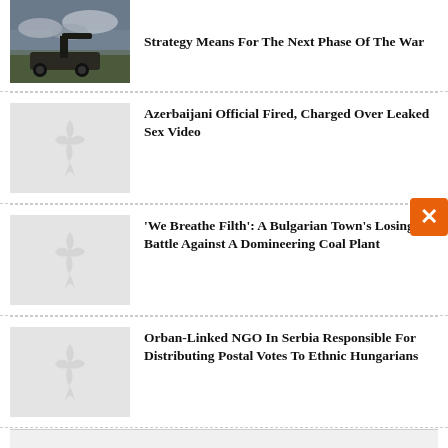[Figure (photo): Military vehicle, possibly artillery or missile launcher, in field with cloudy sky]
Strategy Means For The Next Phase Of The War
[Figure (photo): Placeholder image with grey background and bird logo]
Azerbaijani Official Fired, Charged Over Leaked Sex Video
[Figure (photo): Placeholder image with grey background and bird logo]
'We Breathe Filth': A Bulgarian Town's Losing Battle Against A Domineering Coal Plant
[Figure (photo): Placeholder image with grey background and bird logo]
Orban-Linked NGO In Serbia Responsible For Distributing Postal Votes To Ethnic Hungarians